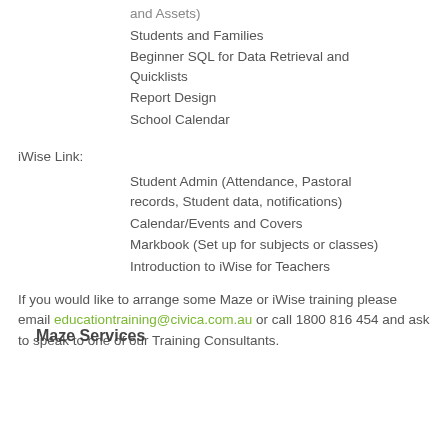and Assets)
Students and Families
Beginner SQL for Data Retrieval and Quicklists
Report Design
School Calendar
iWise Link:
Student Admin (Attendance, Pastoral records, Student data, notifications)
Calendar/Events and Covers
Markbook (Set up for subjects or classes)
Introduction to iWise for Teachers
If you would like to arrange some Maze or iWise training please email educationtraining@civica.com.au or call 1800 816 454 and ask to speak to one of our Training Consultants.
Maze Services